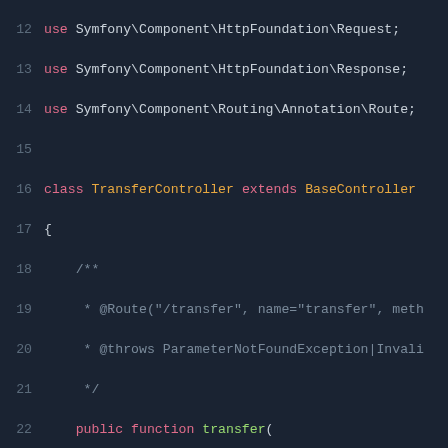[Figure (screenshot): PHP code snippet showing a Symfony TransferController class with line numbers 12-33, on a dark background. Shows use statements, class declaration extending BaseController, and a public function transfer() with parameters Request, UserRepository, EntityManagerInterface, returning JsonResponse, with body setting $sender, $senderWallet, and $requestBody.]